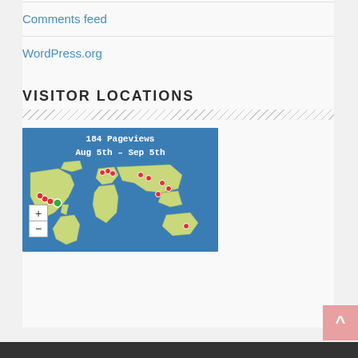Comments feed
WordPress.org
VISITOR LOCATIONS
[Figure (map): World map showing visitor locations with red dot markers. Header text reads '184 Pageviews Aug 5th – Sep 5th'. Map has blue ocean background with yellow-green landmasses and red location markers scattered across North America, Europe, and Asia. A zoom control (+/-) appears in the bottom left.]